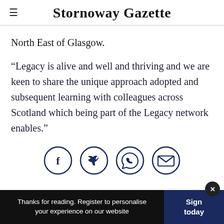Stornoway Gazette
North East of Glasgow.
“Legacy is alive and well and thriving and we are keen to share the unique approach adopted and subsequent learning with colleagues across Scotland which being part of the Legacy network enables.”
[Figure (other): Four social sharing icons in dark blue circles: Facebook (f), Twitter (bird), WhatsApp (phone/chat), Email (envelope)]
Thanks for reading. Register to personalise your experience on our website | Sign today